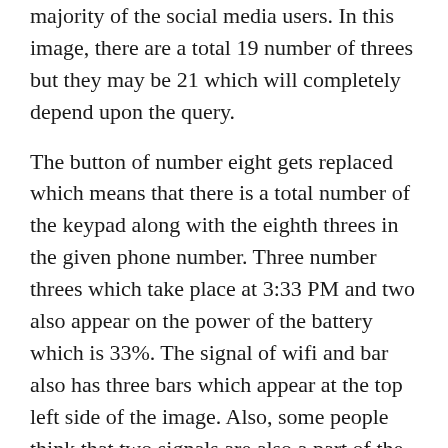majority of the social media users. In this image, there are a total 19 number of threes but they may be 21 which will completely depend upon the query.
The button of number eight gets replaced which means that there is a total number of the keypad along with the eighth threes in the given phone number. Three number threes which take place at 3:33 PM and two also appear on the power of the battery which is 33%. The signal of wifi and bar also has three bars which appear at the top left side of the image. Also, some people think that two signals are also a part of the puzzle which will bring a total number of 3s to 21. So, it will depend upon how you understand this question, and also the correct answer will be 19 or 21. Simply check out the image in a proper manner to understand the answer properly.
Answer to “Eye Test How Many 3s” Puzzle